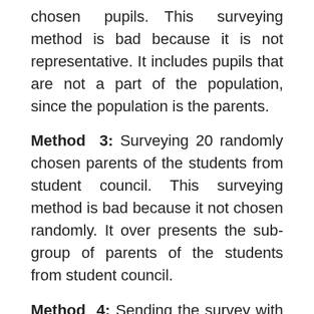chosen pupils. This surveying method is bad because it is not representative. It includes pupils that are not a part of the population, since the population is the parents.
Method 3: Surveying 20 randomly chosen parents of the students from student council. This surveying method is bad because it not chosen randomly. It over presents the sub-group of parents of the students from student council.
Method 4: Sending the survey with SMS messages to randomly chosen